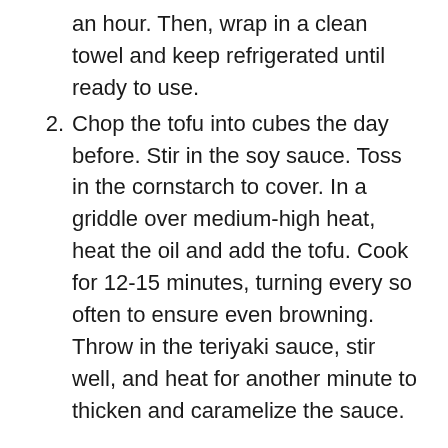an hour. Then, wrap in a clean towel and keep refrigerated until ready to use.
2. Chop the tofu into cubes the day before. Stir in the soy sauce. Toss in the cornstarch to cover. In a griddle over medium-high heat, heat the oil and add the tofu. Cook for 12-15 minutes, turning every so often to ensure even browning. Throw in the teriyaki sauce, stir well, and heat for another minute to thicken and caramelize the sauce.
I Strongly Advise Splitting Quantities in Half and Preparing in Two Batches When Making Fried Rice
In a big pan or wok, heat one tablespoon of avocado oil over high heat. Add the onion and